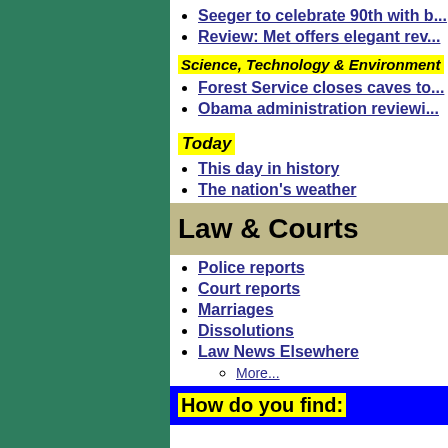Seeger to celebrate 90th with b...
Review: Met offers elegant rev...
Science, Technology & Environment
Forest Service closes caves to...
Obama administration reviewi...
Today
This day in history
The nation's weather
Law & Courts
Police reports
Court reports
Marriages
Dissolutions
Law News Elsewhere
More...
How do you find: